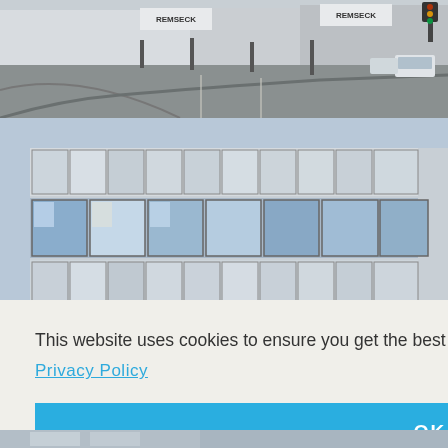[Figure (photo): Aerial/street view of an intersection with road markings, signage reading 'REMSECK', parked and passing cars, and paved surfaces]
[Figure (photo): Modern multi-story building with glass block and metal grid facade, large windows reflecting sky, surrounded by trees and landscaping]
This website uses cookies to ensure you get the best experience on our website.
Privacy Policy
OK
[Figure (photo): Partial view of additional building exterior or plaza at the bottom of the page]